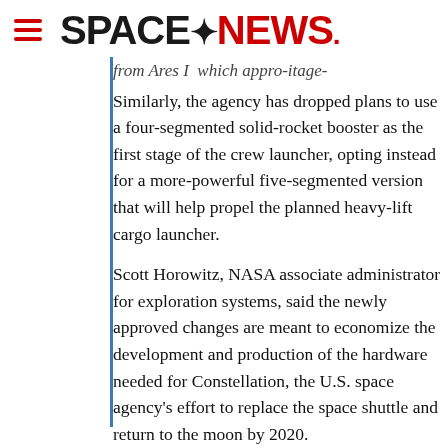SPACENEWS
from Ares I which appro- itage-
Similarly, the agency has dropped plans to use a four-segmented solid-rocket booster as the first stage of the crew launcher, opting instead for a more-powerful five-segmented version that will help propel the planned heavy-lift cargo launcher.
Scott Horowitz, NASA associate administrator for exploration systems, said the newly approved changes are meant to economize the development and production of the hardware needed for Constellation, the U.S. space agency's effort to replace the space shuttle and return to the moon by 2020.